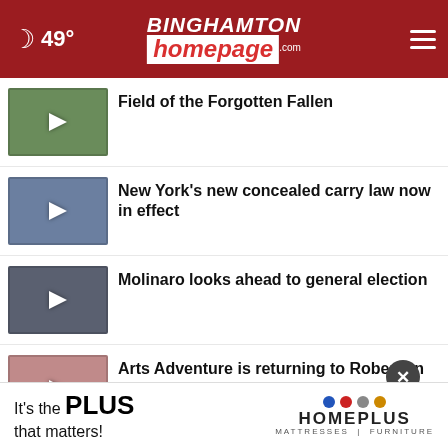49° Binghamton Homepage
Field of the Forgotten Fallen
New York's new concealed carry law now in effect
Molinaro looks ahead to general election
Arts Adventure is returning to Roberson
Mother daughter exhibit at Cooperative Gallery
Together for the impact Project
It's the PLUS that matters! HOMEPLUS MATTRESSES | FURNITURE